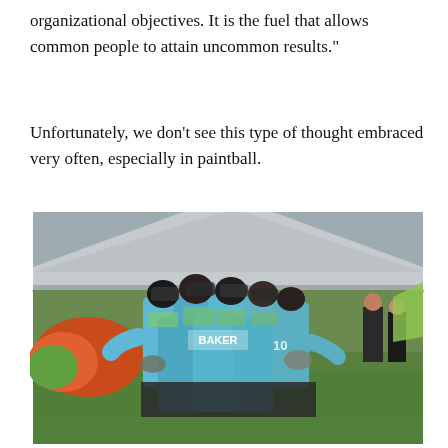organizational objectives. It is the fuel that allows common people to attain uncommon results."
Unfortunately, we don't see this type of thought embraced very often, especially in paintball.
[Figure (photo): A group of paintball players in matching blue and teal jerseys huddled together in a team huddle on a grass field. A large white tent canopy is visible in the background, along with colorful paintball bunkers on the left side.]